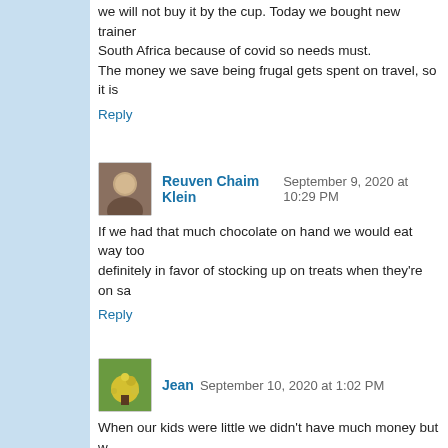we will not buy it by the cup. Today we bought new trainer... South Africa because of covid so needs must. The money we save being frugal gets spent on travel, so it is...
Reply
Reuven Chaim Klein  September 9, 2020 at 10:29 PM
If we had that much chocolate on hand we would eat way too... definitely in favor of stocking up on treats when they're on sa...
Reply
Jean  September 10, 2020 at 1:02 PM
When our kids were little we didn't have much money but w... had a home-made pudding. I agree with everything you sai... pension and not rich but being frugal means I can spend ex... savings for emergencies. People wondered how I could affo... and still having little treats bought frugally.
Reply
red-haired sister  September 19, 2020 at 3:41 AM
Everyone wastes money I feel. I'm curious though, in yo...st